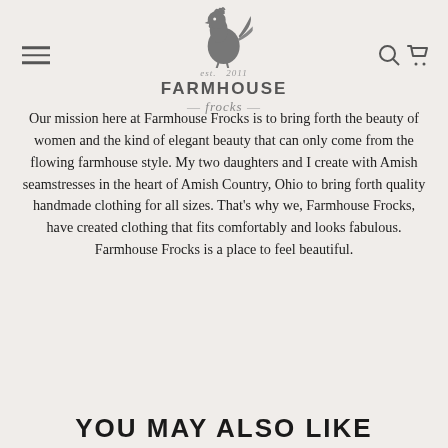[Figure (logo): Farmhouse Frocks logo with rooster illustration, brand name FARMHOUSE frocks, est. 2011]
Our mission here at Farmhouse Frocks is to bring forth the beauty of women and the kind of elegant beauty that can only come from the flowing farmhouse style. My two daughters and I create with Amish seamstresses in the heart of Amish Country, Ohio to bring forth quality handmade clothing for all sizes. That's why we, Farmhouse Frocks, have created clothing that fits comfortably and looks fabulous. Farmhouse Frocks is a place to feel beautiful.
YOU MAY ALSO LIKE